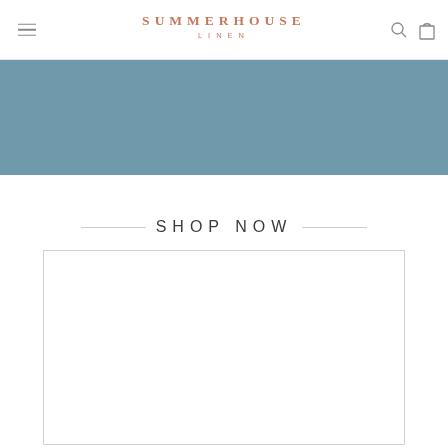SUMMERHOUSE LINEN
[Figure (illustration): Solid steel blue/muted teal horizontal banner image]
SHOP NOW
[Figure (photo): White product image card with border, partially visible product at bottom]